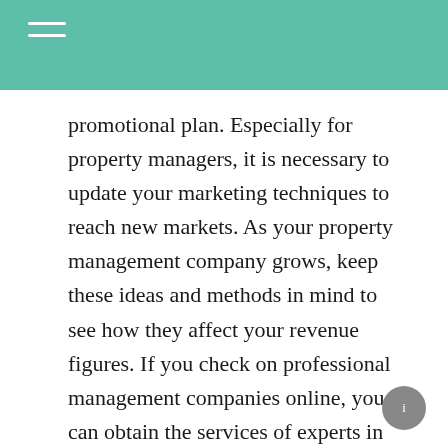promotional plan. Especially for property managers, it is necessary to update your marketing techniques to reach new markets. As your property management company grows, keep these ideas and methods in mind to see how they affect your revenue figures. If you check on professional management companies online, you can obtain the services of experts in property management reputation management and marketing ideas.
Property Management Website